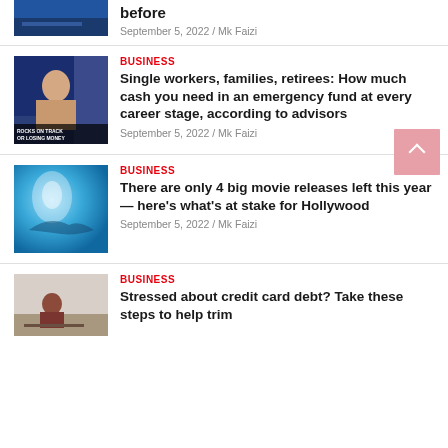[Figure (photo): Partial news thumbnail (blue/dark) at top]
September 5, 2022 / Mk Faizi
[Figure (photo): News anchor on TV screen with chyron text]
BUSINESS
Single workers, families, retirees: How much cash you need in an emergency fund at every career stage, according to advisors
September 5, 2022 / Mk Faizi
[Figure (photo): Underwater blue ocean photo]
BUSINESS
There are only 4 big movie releases left this year — here's what's at stake for Hollywood
September 5, 2022 / Mk Faizi
[Figure (photo): Person sitting at desk stressed]
BUSINESS
Stressed about credit card debt? Take these steps to help trim